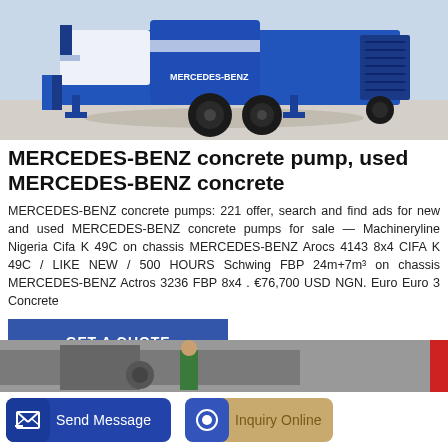[Figure (photo): Blue MERCEDES-BENZ concrete pump truck on pavement, side view showing large tires, stabilizer legs, and pumping mechanism]
MERCEDES-BENZ concrete pump, used MERCEDES-BENZ concrete
MERCEDES-BENZ concrete pumps: 221 offer, search and find ads for new and used MERCEDES-BENZ concrete pumps for sale — Machineryline Nigeria Cifa K 49C on chassis MERCEDES-BENZ Arocs 4143 8x4 CIFA K 49C / LIKE NEW / 500 HOURS Schwing FBP 24m+7m³ on chassis MERCEDES-BENZ Actros 3236 FBP 8x4 . €76,700 USD NGN. Euro Euro 3 Concrete
GET A QUOTE
[Figure (photo): Partial view of another machinery listing photo at the bottom of the page]
Send Message
Inquiry Online